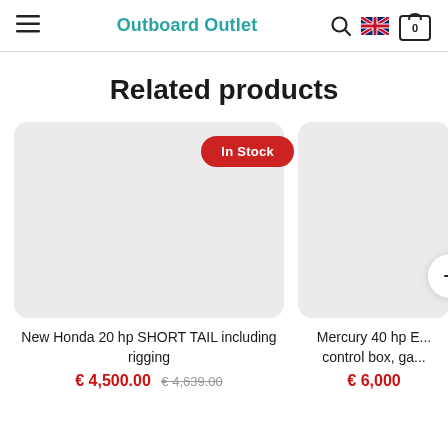Outboard Outlet
Related products
[Figure (screenshot): Product card for New Honda 20 hp SHORT TAIL including rigging with In Stock badge, light gray placeholder image area]
New Honda 20 hp SHORT TAIL including rigging
€ 4,500.00  € 4,639.00
[Figure (screenshot): Partial product card for Mercury 40 hp with navigation arrow button, light gray placeholder image area]
Mercury 40 hp E... control box, ga...
€ 6,000...